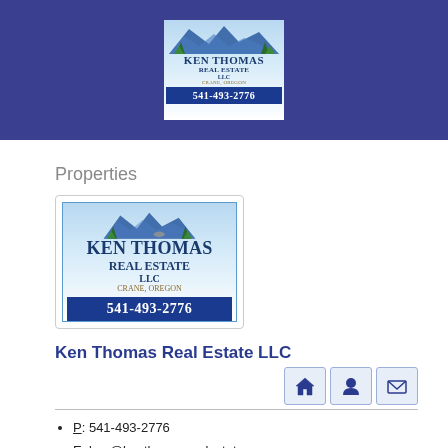[Figure (logo): Ken Thomas Real Estate LLC logo with mountains, trees, phone number 541-493-2776, Crane Oregon — shown in blue header banner]
Properties
[Figure (logo): Ken Thomas Real Estate LLC logo box — larger version with mountains, trees, LLC text, Crane Oregon, phone 541-493-2776]
Ken Thomas Real Estate LLC
P: 541-493-2776
E: ken@kenthomasrealestate.com
P.O. Box 864
Crane